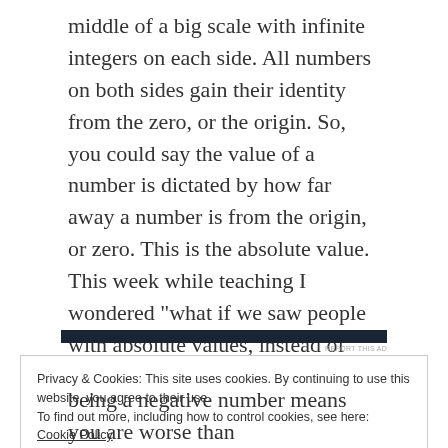middle of a big scale with infinite integers on each side. All numbers on both sides gain their identity from the zero, or the origin. So, you could say the value of a number is dictated by how far away a number is from the origin, or zero. This is the absolute value. This week while teaching I wondered “what if we saw people with absolute values, instead of only positives and negatives?”
[Figure (other): Dark horizontal advertisement bar with 'REPORT THIS AD' label beneath it]
Privacy & Cookies: This site uses cookies. By continuing to use this website, you agree to their use.
To find out more, including how to control cookies, see here: Cookie Policy
[Close and accept button]
being a negative number means you are worse than